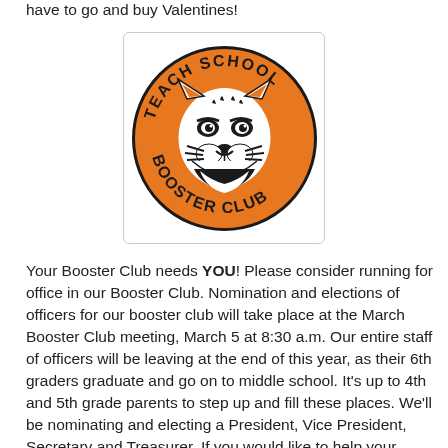have to go and buy Valentines!
[Figure (logo): Teach School Booster Club logo: orange circle with a tiger head in the center, text 'TEACH SCHOOL' arched on top and 'BOOSTER CLUB' arched on the bottom in dark letters]
Your Booster Club needs YOU!  Please consider running for office in our Booster Club.  Nomination and elections of officers for our booster club will take place at the March Booster Club meeting, March 5 at 8:30 a.m.  Our entire staff of officers will be leaving at the end of this year, as their 6th graders graduate and go on to middle school.  It's up to 4th and 5th grade parents to step up and fill these places.  We'll be nominating and electing a President, Vice President, Secretary and Treasurer.  If you would like to help your